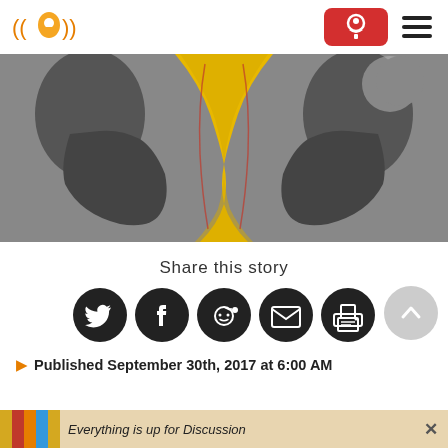Navigation bar with logo, donate button, and hamburger menu
[Figure (illustration): Artistic image of two face profiles facing each other with a yellow hourglass/vase shape between them on a gray textured background]
Share this story
[Figure (infographic): Share icons: Twitter, Facebook, Reddit, Email, Print]
Published September 30th, 2017 at 6:00 AM
[Figure (infographic): Advertisement bar: Everything is up for Discussion with close button]